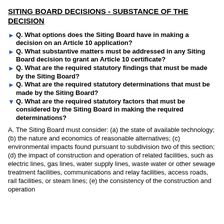SITING BOARD DECISIONS - SUBSTANCE OF THE DECISION
Q. What options does the Siting Board have in making a decision on an Article 10 application?
Q. What substantive matters must be addressed in any Siting Board decision to grant an Article 10 certificate?
Q. What are the required statutory findings that must be made by the Siting Board?
Q. What are the required statutory determinations that must be made by the Siting Board?
Q. What are the required statutory factors that must be considered by the Siting Board in making the required determinations?
A. The Siting Board must consider: (a) the state of available technology; (b) the nature and economics of reasonable alternatives; (c) environmental impacts found pursuant to subdivision two of this section; (d) the impact of construction and operation of related facilities, such as electric lines, gas lines, water supply lines, waste water or other sewage treatment facilities, communications and relay facilities, access roads, rail facilities, or steam lines; (e) the consistency of the construction and operation of the facility with the energy policy standards and long-range energy planning objectives and strategies contained in the long-range energy plan...